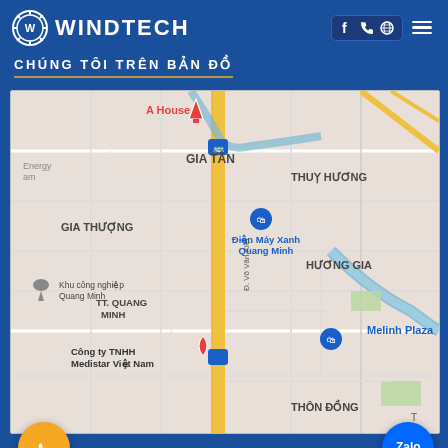WINDTECH
CHÚNG TÔI TRÊN BẢN ĐỒ
[Figure (map): Google Maps view showing Quang Minh area near Hanoi, Vietnam. Shows streets including Đ. Võ Văn Kiệt, neighborhoods GIA TÂN, GIA THƯỢNG, THUỴ HƯƠNG, HƯƠNG GIA, TT. QUANG MINH, THÔN ĐỒNG. Landmarks include Khu công nghiệp Quang Minh, Điện Máy Xanh Quang Minh, Melinh Plaza, Công ty TNHH Medistar Việt Nam, A House. A vertical road with gold/yellow color runs through the center.]